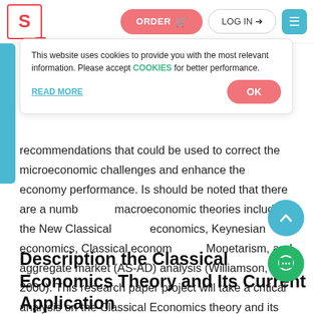S | ORDER | LOG IN | ☰
This website uses cookies to provide you with the most relevant information. Please accept COOKIES for better performance.
READ MORE   OK
recommendations that could be used to correct the microeconomic challenges and enhance the economy performance. Is should be noted that there are a number of macroeconomic theories including the New Classical economics, Keynesian economics, Classical economics, Monetarism, and aggregate market (AS-AD) analysis (Williamson, 2000). This research paper project will take a critical analysis on the Classical Economics theory and its application to business profitability.
Description the Classical Economics Theory and Its Current Application